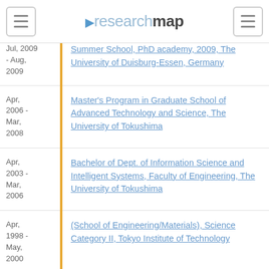researchmap
Jul, 2009 - Aug, 2009 | Summer School, PhD academy, 2009, The University of Duisburg-Essen, Germany
Apr, 2006 - Mar, 2008 | Master's Program in Graduate School of Advanced Technology and Science, The University of Tokushima
Apr, 2003 - Mar, 2006 | Bachelor of Dept. of Information Science and Intelligent Systems, Faculty of Engineering, The University of Tokushima
Apr, 1998 - May, 2000 | (School of Engineering/Materials), Science Category II, Tokyo Institute of Technology